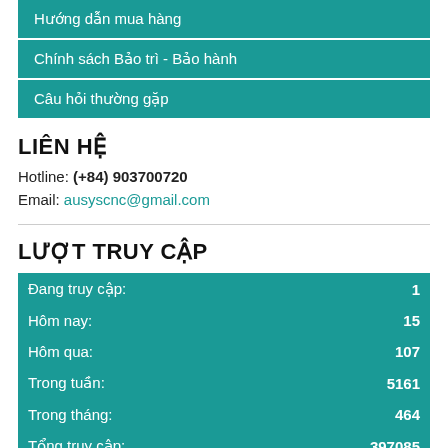Hướng dẫn mua hàng
Chính sách Bảo trì - Bảo hành
Câu hỏi thường gặp
LIÊN HỆ
Hotline: (+84) 903700720
Email: ausyscnc@gmail.com
LƯỢT TRUY CẬP
|  |  |
| --- | --- |
| Đang truy cập: | 1 |
| Hôm nay: | 15 |
| Hôm qua: | 107 |
| Trong tuần: | 5161 |
| Trong tháng: | 464 |
| Tổng truy cập: | 397085 |